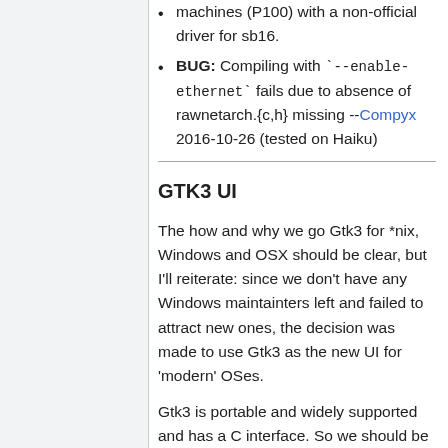machines (P100) with a non-official driver for sb16.
BUG: Compiling with `--enable-ethernet` fails due to absence of rawnetarch.{c,h} missing --Compyx 2016-10-26 (tested on Haiku)
GTK3 UI
The how and why we go Gtk3 for *nix, Windows and OSX should be clear, but I'll reiterate: since we don't have any Windows maintainters left and failed to attract new ones, the decision was made to use Gtk3 as the new UI for 'modern' OSes.
Gtk3 is portable and widely supported and has a C interface. So we should be able to write the UI code once and have it run on our major platforms: Linux,